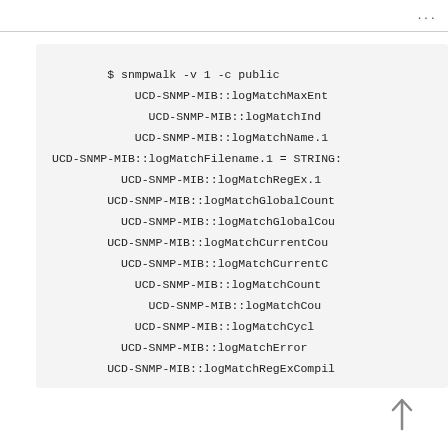...
$ snmpwalk -v 1 -c public
UCD-SNMP-MIB::logMatchMaxEnt
UCD-SNMP-MIB::logMatchInd
UCD-SNMP-MIB::logMatchName.1
UCD-SNMP-MIB::logMatchFilename.1 = STRING:
UCD-SNMP-MIB::logMatchRegEx.1
UCD-SNMP-MIB::logMatchGlobalCount
UCD-SNMP-MIB::logMatchGlobalCou
UCD-SNMP-MIB::logMatchCurrentCou
UCD-SNMP-MIB::logMatchCurrentC
UCD-SNMP-MIB::logMatchCount
UCD-SNMP-MIB::logMatchCou
UCD-SNMP-MIB::logMatchCycl
UCD-SNMP-MIB::logMatchError
UCD-SNMP-MIB::logMatchRegExCompil